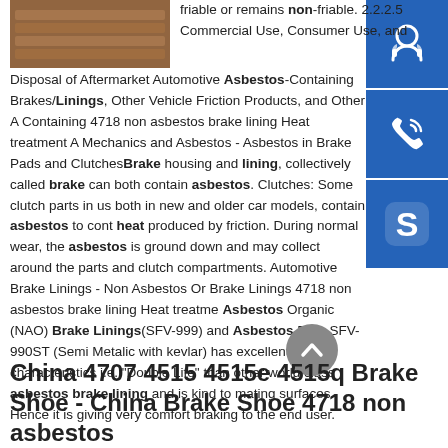[Figure (photo): Stacked brake lining/shoe products in a warehouse or factory setting, brownish/orange metal parts]
friable or remains non-friable. 2.2.2.5 Commercial Use, Consumer Use, and Disposal of Aftermarket Automotive Asbestos-Containing Brakes/Linings, Other Vehicle Friction Products, and Other Containing 4718 non asbestos brake lining Heat treatment Mechanics and Asbestos - Asbestos in Brake Pads and ClochesBrake housing and lining, collectively called brake can both contain asbestos. Clutches: Some clutch parts in use both in new and older car models, contain asbestos to contain heat produced by friction. During normal wear, the asbestos is ground down and may collect around the parts and clutch compartments. Automotive Brake Linings - Non Asbestos Or Brake Linings 4718 non asbestos brake lining Heat treatment Asbestos Organic (NAO) Brake Linings(SFV-999) and Asbestos Free-SFV-990ST (Semi Metalic with kevlar) has excellent wear characteristics i.e. "Double Life" than other world class asbestos brake lining and is kind to mating surfaces. Hence it is giving very comfort braking to the end user.
China 4707 4515 4515e 4515q Brake Shoe - China Brake Shoe 4718 non asbestos